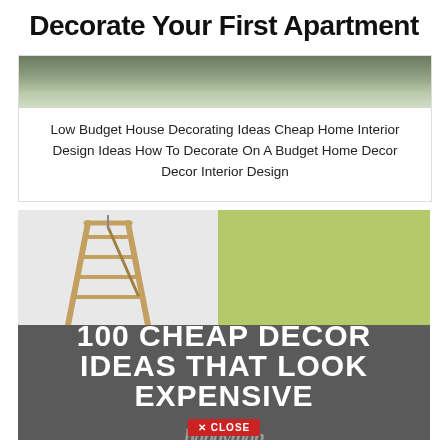Decorate Your First Apartment
[Figure (photo): Top portion of a floral/wreath decorating photo, cropped at the top of the card]
Low Budget House Decorating Ideas Cheap Home Interior Design Ideas How To Decorate On A Budget Home Decor Decor Interior Design
[Figure (photo): A wooden ladder leaning against a wall being painted green, with a dark gray lower half overlay showing bold white text '100 CHEAP DECOR IDEAS THAT LOOK EXPENSIVE' and a Family Handyman logo with a red CLOSE button]
100 CHEAP DECOR IDEAS THAT LOOK EXPENSIVE
family handyman × CLOSE